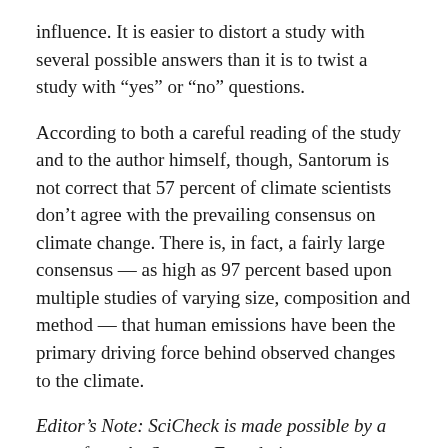influence. It is easier to distort a study with several possible answers than it is to twist a study with “yes” or “no” questions.
According to both a careful reading of the study and to the author himself, though, Santorum is not correct that 57 percent of climate scientists don’t agree with the prevailing consensus on climate change. There is, in fact, a fairly large consensus — as high as 97 percent based upon multiple studies of varying size, composition and method — that human emissions have been the primary driving force behind observed changes to the climate.
Editor’s Note: SciCheck is made possible by a grant from the Stanton Foundation.
– Dave Levitan